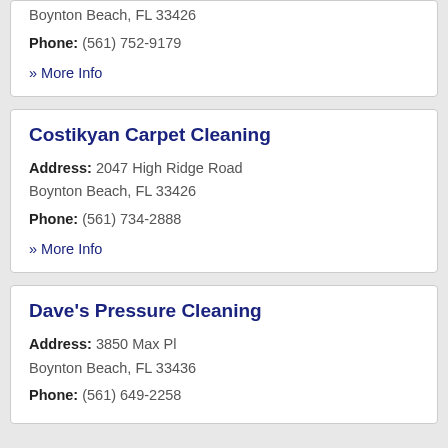Boynton Beach, FL 33426
Phone: (561) 752-9179
» More Info
Costikyan Carpet Cleaning
Address: 2047 High Ridge Road Boynton Beach, FL 33426
Phone: (561) 734-2888
» More Info
Dave's Pressure Cleaning
Address: 3850 Max Pl Boynton Beach, FL 33436
Phone: (561) 649-2258